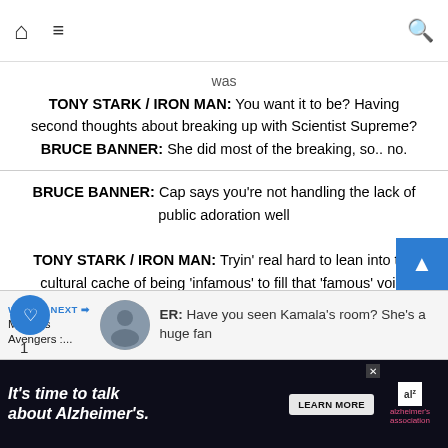Home | Menu | Search
was
TONY STARK / IRON MAN: You want it to be? Having second thoughts about breaking up with Scientist Supreme?
BRUCE BANNER: She did most of the breaking, so.. no.
BRUCE BANNER: Cap says you're not handling the lack of public adoration well
TONY STARK / IRON MAN: Tryin' real hard to lean into the cultural cache of being 'infamous' to fill that 'famous' void.
BRUCE BANNER: How's that working out for you?
TONY STARK / IRON MAN: Not great! Turns out I do a lot better with direct and unambiguous affection
ER: Have you seen Kamala's room? She's a huge fan
TONY STARK / IRON MAN: I know the real deal. She's been
[Figure (screenshot): Advertisement banner: It's time to talk about Alzheimer's. Learn More button and Alzheimer's Association logo.]